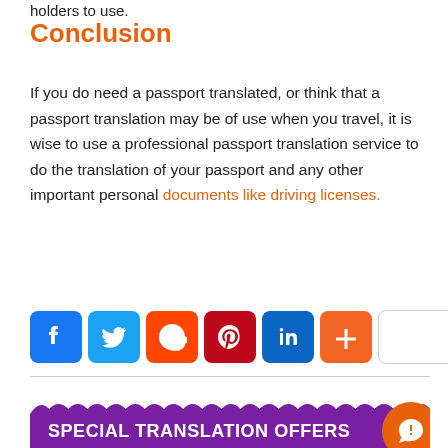holders to use.
Conclusion
If you do need a passport translated, or think that a passport translation may be of use when you travel, it is wise to use a professional passport translation service to do the translation of your passport and any other important personal documents like driving licenses.
[Figure (infographic): Social sharing icon bar: Facebook (blue), Twitter (light blue), Reddit (orange-red), Pinterest (dark red), LinkedIn (blue), More/Plus (orange), and an empty white box.]
SPECIAL TRANSLATION OFFERS